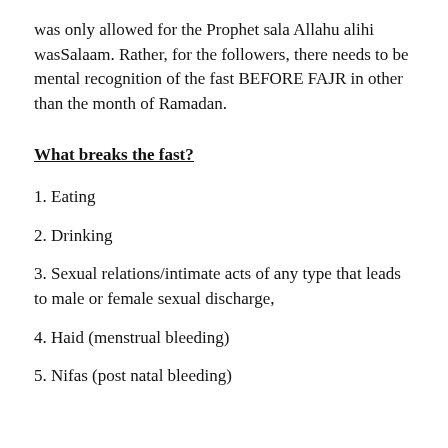was only allowed for the Prophet sala Allahu alihi wasSalaam. Rather, for the followers, there needs to be mental recognition of the fast BEFORE FAJR in other than the month of Ramadan.
What breaks the fast?
1. Eating
2. Drinking
3. Sexual relations/intimate acts of any type that leads to male or female sexual discharge,
4. Haid (menstrual bleeding)
5. Nifas (post natal bleeding)